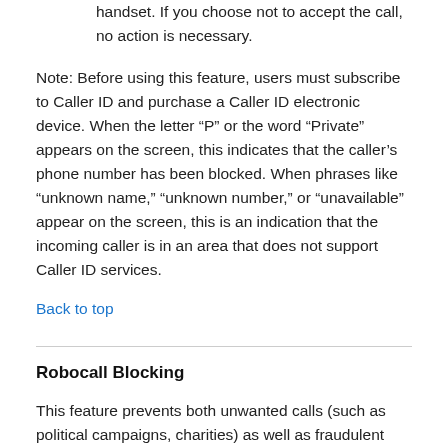handset. If you choose not to accept the call, no action is necessary.
Note: Before using this feature, users must subscribe to Caller ID and purchase a Caller ID electronic device. When the letter “P” or the word “Private” appears on the screen, this indicates that the caller’s phone number has been blocked. When phrases like “unknown name,” “unknown number,” or “unavailable” appear on the screen, this is an indication that the incoming caller is in an area that does not support Caller ID services.
Back to top
Robocall Blocking
This feature prevents both unwanted calls (such as political campaigns, charities) as well as fraudulent calls